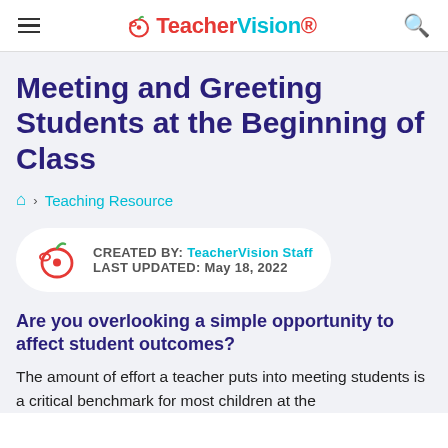TeacherVision
Meeting and Greeting Students at the Beginning of Class
Teaching Resource
CREATED BY: TeacherVision Staff
LAST UPDATED: May 18, 2022
Are you overlooking a simple opportunity to affect student outcomes?
The amount of effort a teacher puts into meeting students is a critical benchmark for most children at the